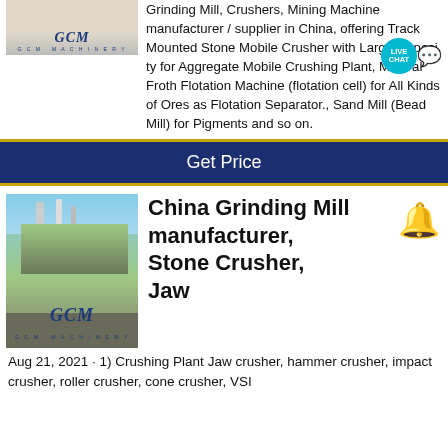[Figure (logo): GCM Machinery logo image at top left]
Grinding Mill, Crushers, Mining Machine manufacturer / supplier in China, offering Track Mounted Stone Mobile Crusher with Large Capacity for Aggregate Mobile Crushing Plant, Mineral Froth Flotation Machine (flotation cell) for All Kinds of Ores as Flotation Separator., Sand Mill (Bead Mill) for Pigments and so on.
[Figure (other): Live Chat badge icon]
Get Price
[Figure (photo): Photo of GCM grinding mill industrial equipment with GCM Machinery logo]
China Grinding Mill manufacturer, Stone Crusher, Jaw
Aug 21, 2021 · 1) Crushing Plant Jaw crusher, hammer crusher, impact crusher, roller crusher, cone crusher, VSI